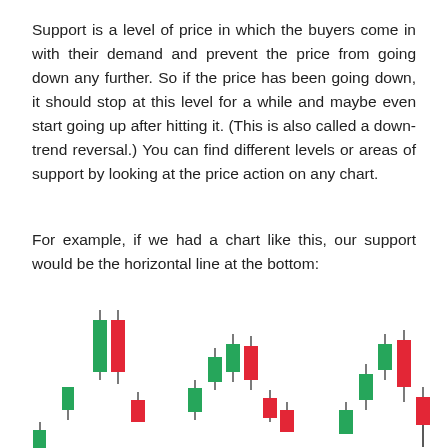Support is a level of price in which the buyers come in with their demand and prevent the price from going down any further. So if the price has been going down, it should stop at this level for a while and maybe even start going up after hitting it. (This is also called a down-trend reversal.) You can find different levels or areas of support by looking at the price action on any chart.
For example, if we had a chart like this, our support would be the horizontal line at the bottom:
[Figure (other): Candlestick chart showing green (bullish) and red (bearish) candles arranged in three groups, with wicks above and below. The candles show price action with a support level implied at the bottom. Green candles on left side of each group, red candles on right side.]